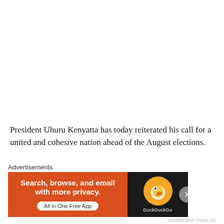President Uhuru Kenyatta has today reiterated his call for a united and cohesive nation ahead of the August elections.
Speaking at State House during a new year luncheon hosted
[Figure (other): DuckDuckGo advertisement banner with orange left panel reading 'Search, browse, and email with more privacy. All in One Free App' and dark right panel showing DuckDuckGo duck logo]